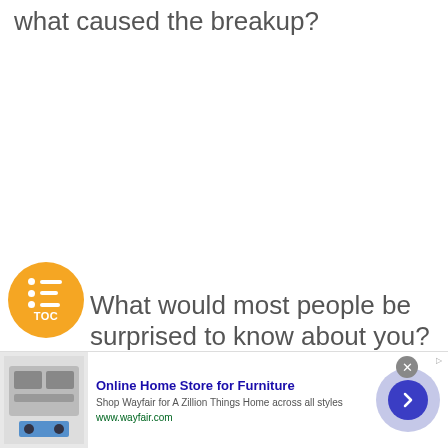what caused the breakup?
What would most people be surprised to know about you?
[Figure (other): Orange circular TOC (table of contents) navigation button with list icon and 'TOC' label]
[Figure (other): Advertisement banner: Online Home Store for Furniture - Shop Wayfair for A Zillion Things Home across all styles. www.wayfair.com. Shows kitchen appliance image and navigation arrow.]